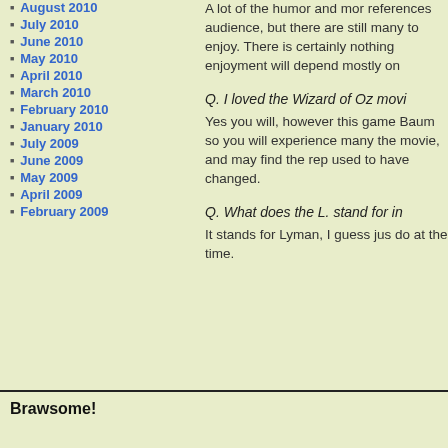August 2010
July 2010
June 2010
May 2010
April 2010
March 2010
February 2010
January 2010
July 2009
June 2009
May 2009
April 2009
February 2009
A lot of the humor and mor references audience, but there are still many to enjoy. There is certainly nothing enjoyment will depend mostly on
Q. I loved the Wizard of Oz movi Yes you will, however this game Baum so you will experience many the movie, and may find the rep used to have changed.
Q. What does the L. stand for in It stands for Lyman, I guess jus do at the time.
Brawsome!